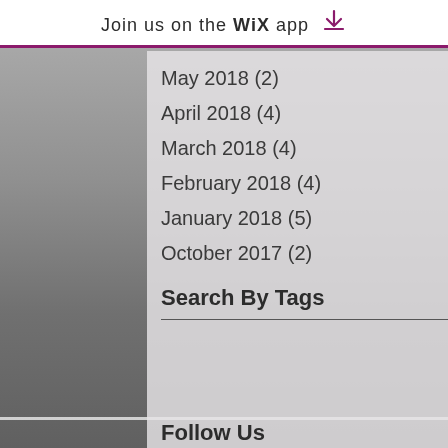Join us on the WiX app ↓
May 2018 (2)
April 2018 (4)
March 2018 (4)
February 2018 (4)
January 2018 (5)
October 2017 (2)
Search By Tags
No tags yet.
Follow Us